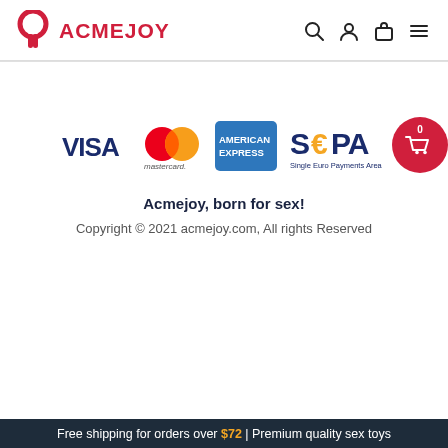ACMEJOY
[Figure (logo): Acmejoy logo with red stylized A icon and ACMEJOY text in red, plus navigation icons (search, user, bag, menu)]
[Figure (infographic): Payment method logos: VISA, Mastercard, American Express, SEPA Single Euro Payments Area, with a red shopping cart bubble showing 0 items]
Acmejoy, born for sex!
Copyright © 2021 acmejoy.com, All rights Reserved
Free shipping for orders over $72 | Premium quality sex toys